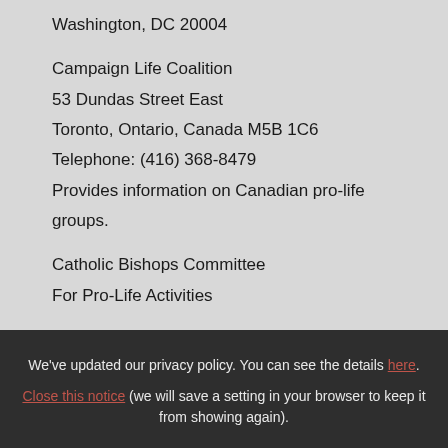Washington, DC 20004
Campaign Life Coalition
53 Dundas Street East
Toronto, Ontario, Canada M5B 1C6
Telephone: (416) 368-8479
Provides information on Canadian pro-life groups.
Catholic Bishops Committee
For Pro-Life Activities
We've updated our privacy policy. You can see the details here. Close this notice (we will save a setting in your browser to keep it from showing again).